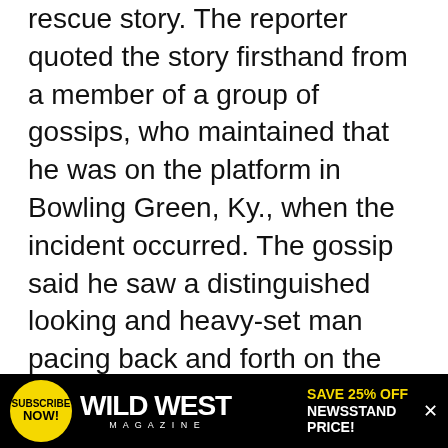rescue story. The reporter quoted the story firsthand from a member of a group of gossips, who maintained that he was on the platform in Bowling Green, Ky., when the incident occurred. The gossip said he saw a distinguished looking and heavy-set man pacing back and forth on the track as if in deep meditation. The train then approached, unnoticed by the man, and that's when Booth jumped from the platform and jerked him by the collar off the track. The two men rolled down the slight embankment and landed in a mud puddle. The great actor was none too soon, for a moment after they rolled from the track the wheels passed over the spot where the unconscious stranger had stood. The gossip wondered if Robert T. Lincoln, the secretary of war, was ever aware that it was Edwin
[Figure (other): Advertisement banner for Wild West Magazine with yellow 'Subscribe Now!' circle button on left, Wild West Magazine logo in center, and 'Save 25% Off Newsstand Price!' text on right in yellow and white on black background.]